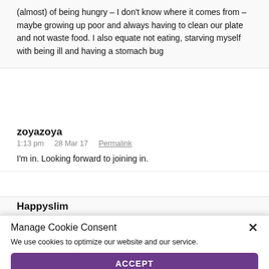(almost) of being hungry – I don't know where it comes from – maybe growing up poor and always having to clean our plate and not waste food. I also equate not eating, starving myself with being ill and having a stomach bug
zoyazoya
1:13 pm  28 Mar 17  Permalink
I'm in. Looking forward to joining in.
Happyslim
Manage Cookie Consent
We use cookies to optimize our website and our service.
ACCEPT
Opt-out preferences   Privacy statement